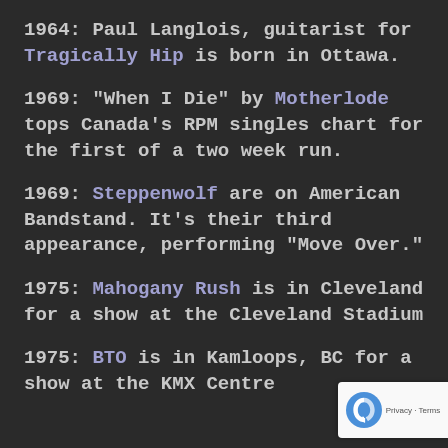1964: Paul Langlois, guitarist for Tragically Hip is born in Ottawa.
1969: "When I Die" by Motherlode tops Canada's RPM singles chart for the first of a two week run.
1969: Steppenwolf are on American Bandstand. It's their third appearance, performing "Move Over."
1975: Mahogany Rush is in Cleveland for a show at the Cleveland Stadium
1975: BTO is in Kamloops, BC for a show at the KMX Centre